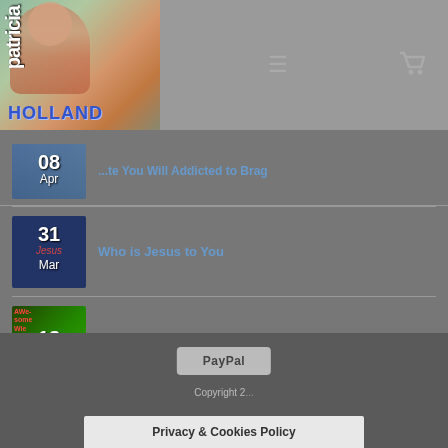[Figure (logo): Patricia Holland website logo with photo and vertical text]
08 Apr - [title partially visible: ...te You Will Addicted to Brag]
31 Mar - Who is Jesus to You
18 Mar - 4 Way to Keep Your Relationship with God a Priority
11 Mar - Say It with Flowers. The Fireweed's Secret.
PayPal  Copyright 2...  Privacy & Cookies Policy